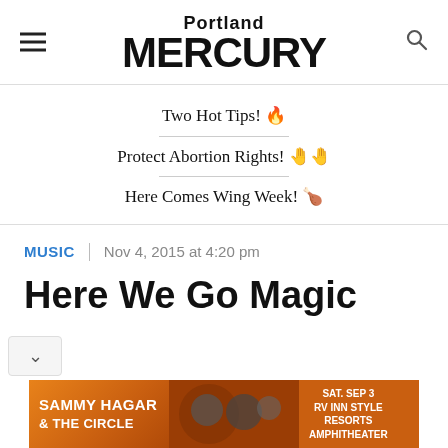Portland MERCURY
Two Hot Tips! 🔥
Protect Abortion Rights! ✊✊
Here Comes Wing Week! 🍗
MUSIC | Nov 4, 2015 at 4:20 pm
Here We Go Magic
[Figure (photo): Advertisement banner for Sammy Hagar & The Circle, Sat. Sep 3, RV Inn Style Resorts Amphitheater]